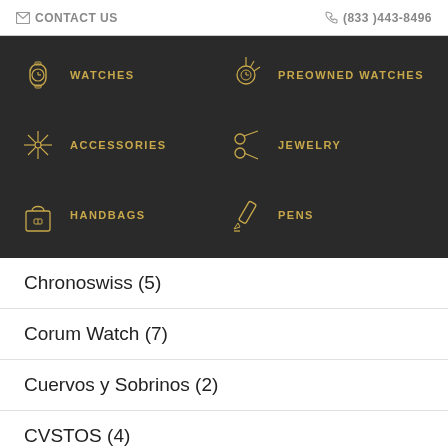CONTACT US | (833)443-8496
[Figure (screenshot): Navigation menu with dark background showing: WATCHES, PREOWNED WATCHES, ACCESSORIES, JEWELRY, HANDBAGS, PENS — each with a gold icon]
Chronoswiss (5)
Corum Watch (7)
Cuervos y Sobrinos (2)
CVSTOS (4)
Damiani (6)
De Grisogono (3)
Dirk Bikkembergs (1)